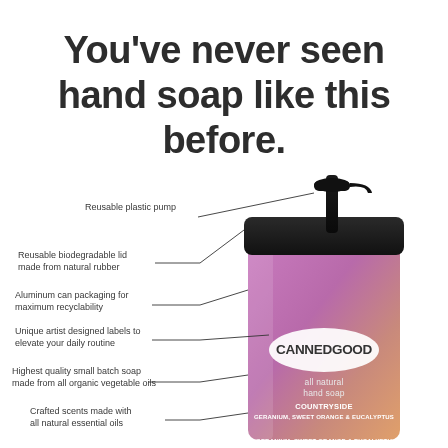You've never seen hand soap like this before.
[Figure (infographic): A CANNEDGOOD branded hand soap bottle with a black pump top and colorful purple/orange label, annotated with callout lines pointing to product features.]
Reusable plastic pump
Reusable biodegradable lid made from natural rubber
Aluminum can packaging for maximum recyclability
Unique artist designed labels to elevate your daily routine
Highest quality small batch soap made from all organic vegetable oils
Crafted scents made with all natural essential oils